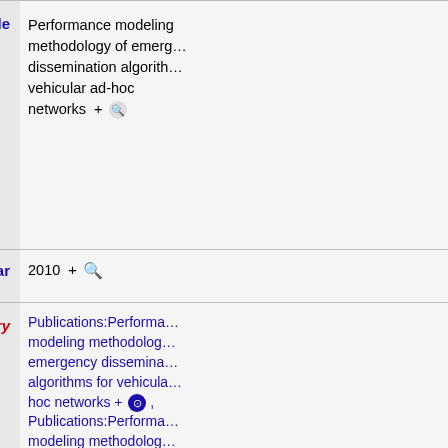| Property | Value |
| --- | --- |
| Title | Performance modeling methodology of emergency dissemination algorithms for vehicular ad-hoc networks |
| Year | 2010 |
| Has query | Publications:Performance modeling methodology emergency dissemination algorithms for vehicular ad-hoc networks (multiple entries) |